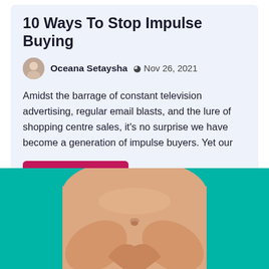10 Ways To Stop Impulse Buying
Oceana Setaysha  ⊙ Nov 26, 2021
Amidst the barrage of constant television advertising, regular email blasts, and the lure of shopping centre sales, it's no surprise we have become a generation of impulse buyers. Yet our
Read More
[Figure (photo): Close-up photo of a person's midsection with hands forming a heart shape over the stomach, against a teal/turquoise background]